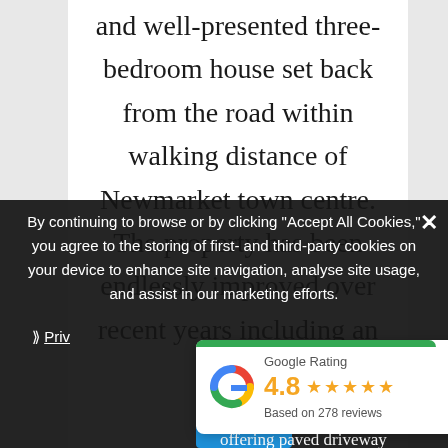and well-presented three-bedroom house set back from the road within walking distance of Newmarket town centre. The property has been endlessly improved over recent years including an
By continuing to browse or by clicking "Accept All Cookies," you agree to the storing of first- and third-party cookies on your device to enhance site navigation, analyse site usage, and assist in our marketing efforts.
❯ Priv...
[Figure (other): Google Rating widget showing 4.8 stars based on 278 reviews, with the Google 'G' logo in red, yellow, green and blue colors, and a green top bar.]
offering paved driveway